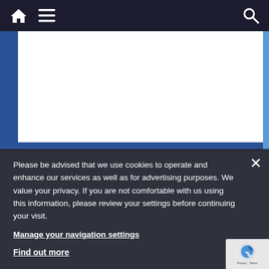Navigation bar with home icon, menu icon, and search icon
[Figure (screenshot): Website header area with dark navigation bar containing home icon, hamburger menu, and search icon on white/blue hero background]
Please be advised that we use cookies to operate and enhance our services as well as for advertising purposes. We value your privacy. If you are not comfortable with us using this information, please review your settings before continuing your visit.
Manage your navigation settings
Find out more